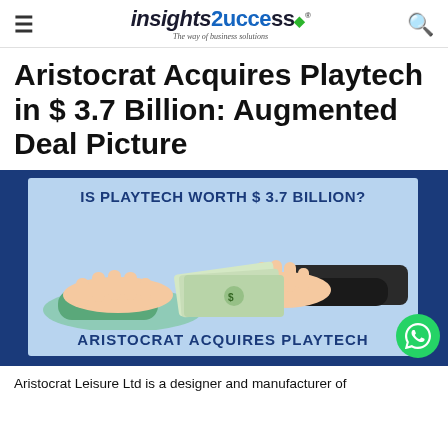Insights Success – The way of business solutions
Aristocrat Acquires Playtech in $ 3.7 Billion: Augmented Deal Picture
[Figure (illustration): Illustration showing two cartoon hands exchanging money (dollar bills), with text overlay: 'IS PLAYTECH WORTH $ 3.7 BILLION?' at the top and 'ARISTOCRAT ACQUIRES PLAYTECH' at the bottom, on a light blue background with a dark blue border. A green WhatsApp button appears in the bottom-right corner.]
Aristocrat Leisure Ltd is a designer and manufacturer of